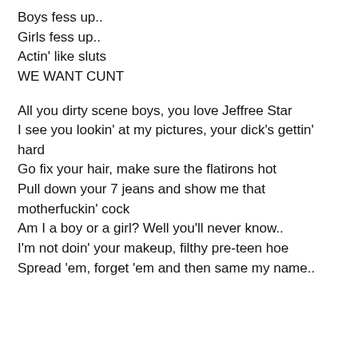Boys fess up..
Girls fess up..
Actin' like sluts
WE WANT CUNT
All you dirty scene boys, you love Jeffree Star
I see you lookin' at my pictures, your dick's gettin' hard
Go fix your hair, make sure the flatirons hot
Pull down your 7 jeans and show me that motherfuckin' cock
Am I a boy or a girl? Well you'll never know..
I'm not doin' your makeup, filthy pre-teen hoe
Spread 'em, forget 'em and then same my name..